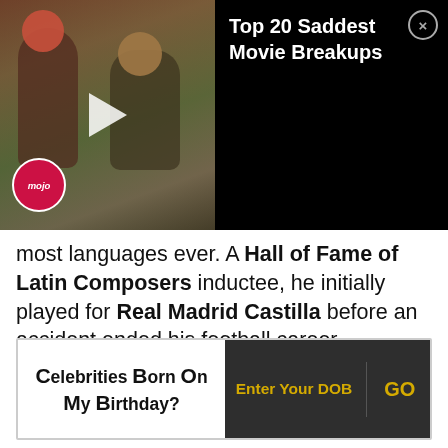[Figure (screenshot): Video thumbnail showing two people in a movie scene with a WatchMojo logo. The video title reads 'Top 20 Saddest Movie Breakups'. A close button (X) appears in the top-right corner.]
most languages ever. A Hall of Fame of Latin Composers inductee, he initially played for Real Madrid Castilla before an accident ended his football career.
[Figure (infographic): Celebrities Born On My Birthday? widget with Enter Your DOB field and GO button]